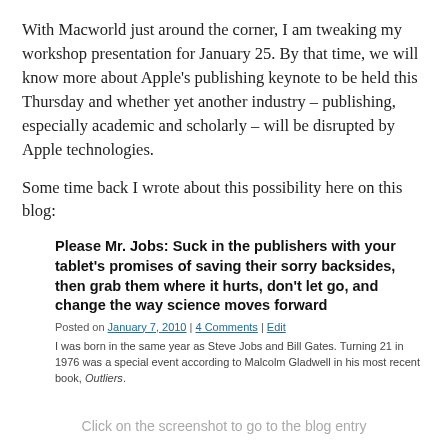With Macworld just around the corner, I am tweaking my workshop presentation for January 25. By that time, we will know more about Apple's publishing keynote to be held this Thursday and whether yet another industry – publishing, especially academic and scholarly – will be disrupted by Apple technologies.
Some time back I wrote about this possibility here on this blog:
Please Mr. Jobs: Suck in the publishers with your tablet's promises of saving their sorry backsides, then grab them where it hurts, don't let go, and change the way science moves forward
Posted on January 7, 2010 | 4 Comments | Edit
I was born in the same year as Steve Jobs and Bill Gates. Turning 21 in 1976 was a special event according to Malcolm Gladwell in his most recent book, Outliers.
Click on the screenshot to go to the blog entry